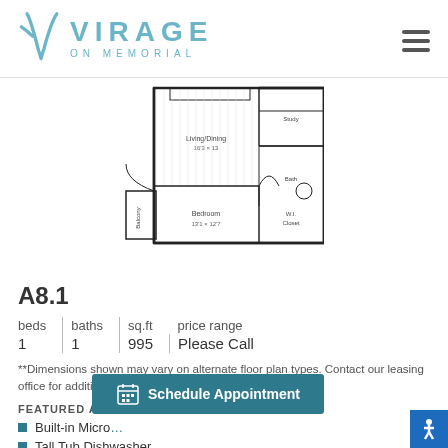VIRAGE ON MEMORIAL
[Figure (schematic): Apartment floor plan for unit A8.1 showing living/dining area, bedroom, bathroom, balcony, and closet layout]
A8.1
| beds | baths | sq.ft | price range |
| --- | --- | --- | --- |
| 1 | 1 | 995 | Please Call |
**Dimensions shown may vary on alternate floor plan types. Contact our leasing office for additional details.
FEATURED AMENITIES
Built-in Micro...
Tall Tub Dishwasher
Schedule Appointment